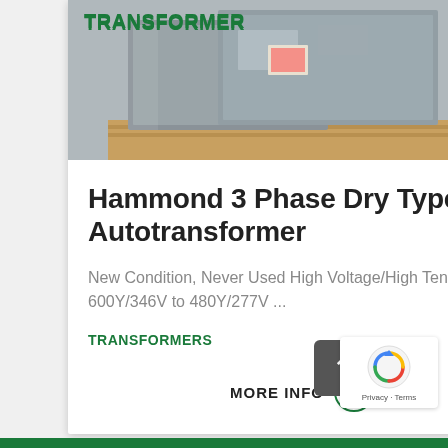[Figure (photo): Product photo of a Hammond 3 Phase Dry Type Autotransformer, gray metal enclosure on wooden pallet, with 'TRANSFORMER' label in green at top left]
Hammond 3 Phase Dry Type Autotransformer
New Condition, Never Used High Voltage/High Tension: 600Y/346V to 480Y/277V ...
TRANSFORMERS
MORE INFO